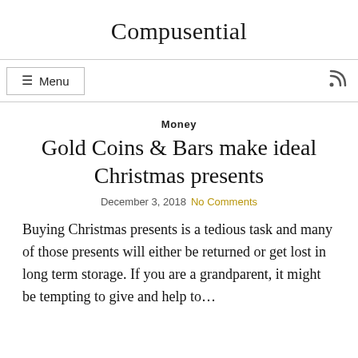Compusential
Money
Gold Coins & Bars make ideal Christmas presents
December 3, 2018  No Comments
Buying Christmas presents is a tedious task and many of those presents will either be returned or get lost in long term storage. If you are a grandparent, it might be tempting to give...